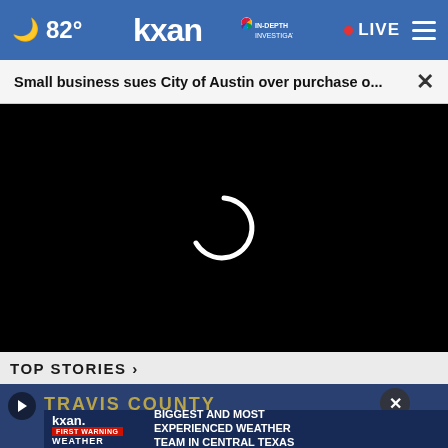82° kxan IN-DEPTH INVESTIGATIVE • LIVE ≡
Small business sues City of Austin over purchase o... ×
[Figure (screenshot): Black video player area with white loading spinner (arc/C shape) centered on screen]
TOP STORIES ›
[Figure (screenshot): News thumbnail showing TRAVIS COUNTY text overlay with play button, close button, and KXAN First Warning Weather advertisement banner reading BIGGEST AND MOST EXPERIENCED WEATHER TEAM IN CENTRAL TEXAS]